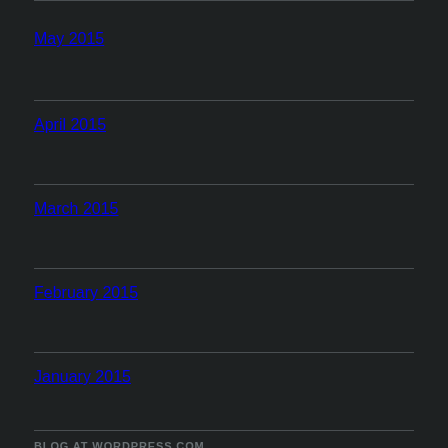May 2015
April 2015
March 2015
February 2015
January 2015
December 2014
BLOG AT WORDPRESS.COM.